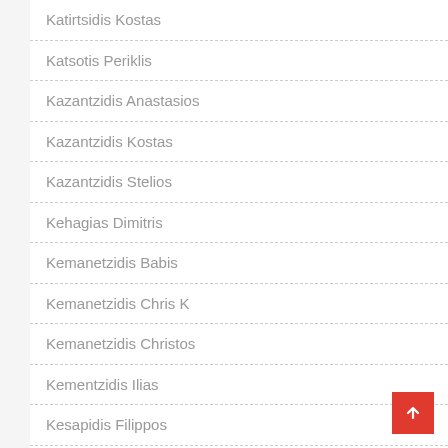Katirtsidis Kostas
Katsotis Periklis
Kazantzidis Anastasios
Kazantzidis Kostas
Kazantzidis Stelios
Kehagias Dimitris
Kemanetzidis Babis
Kemanetzidis Chris K
Kemanetzidis Christos
Kementzidis Ilias
Kesapidis Filippos
Kesidis Giorgos